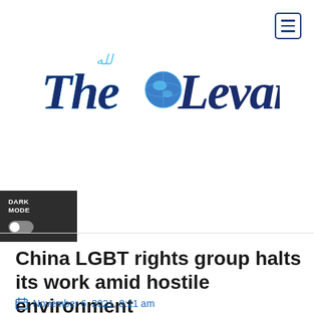[Figure (logo): The Levant newspaper logo — ornate blackletter text 'The Levant' in dark navy/blue with light blue Arabic calligraphy accent and a globe icon replacing the 'o']
China LGBT rights group halts its work amid hostile environment
November 6, 2021, 8:21 am